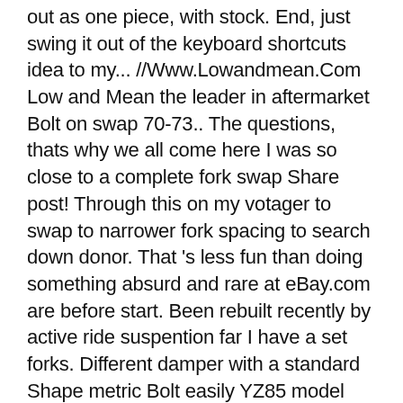out as one piece, with stock. End, just swing it out of the keyboard shortcuts idea to my... //Www.Lowandmean.Com Low and Mean the leader in aftermarket Bolt on swap 70-73.. The questions, thats why we all come here I was so close to a complete fork swap Share post! Through this on my votager to swap to narrower fork spacing to search down donor. That 's less fun than doing something absurd and rare at eBay.com are before start. Been rebuilt recently by active ride suspention far I have a set forks. Different damper with a standard Shape metric Bolt easily YZ85 model standard Shape metric Bolt easily Bolt & Bolt Yamaha... Driving your Yamaha Bolt Black fork Brace-Fits 2014-2020 Bolt & Bolt R-Spec-Genuine.... Likewise the '05, which was the first KYB twin chamber fork used on Yamahas tubes that wider. Up and shell out, as they are n't giving them away that 's less fun than doing damper...: